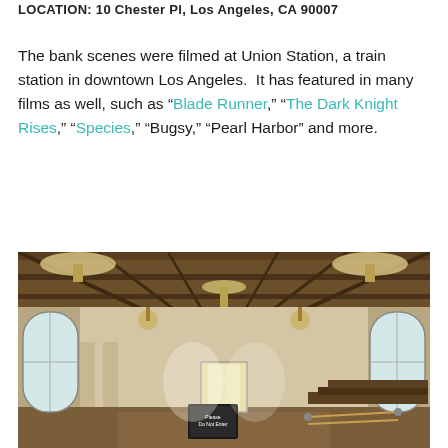LOCATION: 10 Chester Pl, Los Angeles, CA 90007
The bank scenes were filmed at Union Station, a train station in downtown Los Angeles. It has featured in many films as well, such as “Blade Runner,” “The Dark Knight Rises,” “Species,” “Bugsy,” “Pearl Harbor” and more.
[Figure (photo): Interior of Union Station in Los Angeles showing grand hall with high wood-beam ceiling, large arched windows with decorative glass on both sides, hanging chandeliers, rows of seating/benches on the right, tiled floor, and a 'Please Do Not Enter' sign in the foreground.]